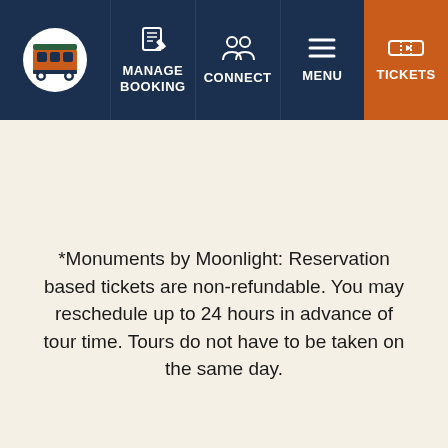[Figure (screenshot): Website navigation bar with dark blue background containing: a trolley/bus logo on the left, followed by nav items: Manage Booking (with notepad icon), Connect (with people icon), Menu (with hamburger icon), Tickets (with ticket icon, orange background)]
*Monuments by Moonlight: Reservation based tickets are non-refundable. You may reschedule up to 24 hours in advance of tour time. Tours do not have to be taken on the same day.